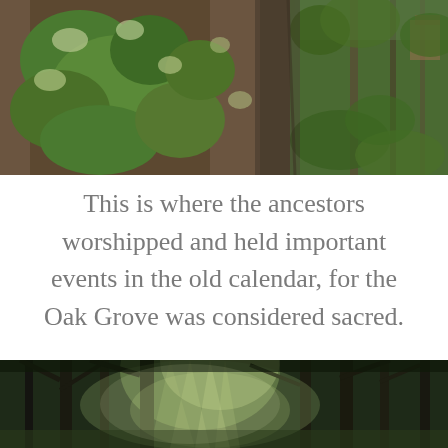[Figure (photo): Close-up photograph of a mossy, lichen-covered tree trunk on the left, and green forest with ferns and trees on the right.]
This is where the ancestors worshipped and held important events in the old calendar, for the Oak Grove was considered sacred.
[Figure (photo): Sunlit forest scene with tall trees and light filtering through the canopy, creating an atmospheric woodland view.]